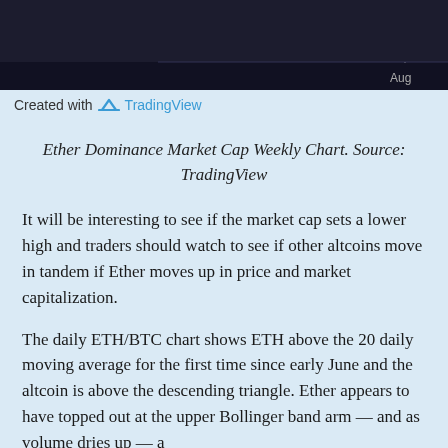[Figure (screenshot): Top portion of a TradingView chart showing a dark background with 'Aug' label visible on the x-axis]
Created with TradingView
Ether Dominance Market Cap Weekly Chart. Source: TradingView
It will be interesting to see if the market cap sets a lower high and traders should watch to see if other altcoins move in tandem if Ether moves up in price and market capitalization.
The daily ETH/BTC chart shows ETH above the 20 daily moving average for the first time since early June and the altcoin is above the descending triangle. Ether appears to have topped out at the upper Bollinger band arm — and as volume dries up — a